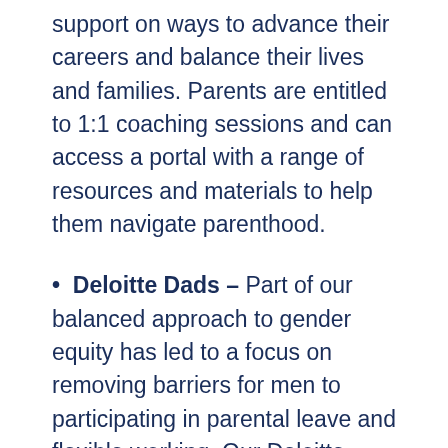support on ways to advance their careers and balance their lives and families. Parents are entitled to 1:1 coaching sessions and can access a portal with a range of resources and materials to help them navigate parenthood.
Deloitte Dads – Part of our balanced approach to gender equity has led to a focus on removing barriers for men to participating in parental leave and flexible working. Our Deloitte Dads initiative aims to actively and consistently encourage more men to share caring responsibilities within their families, by taking extended parental leave and working flexibly